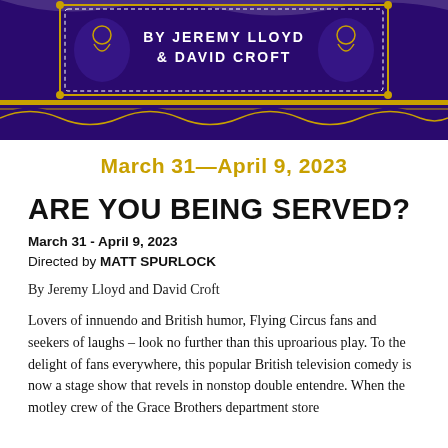[Figure (illustration): Theater production banner showing 'by Jeremy Lloyd & David Croft' text on a dark purple/navy background with decorative gold border elements and wavy ribbon design]
March 31—April 9, 2023
ARE YOU BEING SERVED?
March 31 - April 9, 2023
Directed by MATT SPURLOCK
By Jeremy Lloyd and David Croft
Lovers of innuendo and British humor, Flying Circus fans and seekers of laughs – look no further than this uproarious play. To the delight of fans everywhere, this popular British television comedy is now a stage show that revels in nonstop double entendre. When the motley crew of the Grace Brothers department store